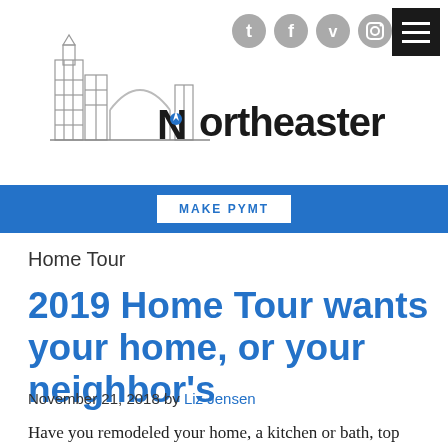[Figure (logo): Northeaster newspaper logo with illustrated city skyline buildings and compass navigation icon in the letter N]
MAKE PYMT
Home Tour
2019 Home Tour wants your home, or your neighbor's
November 21, 2018 by Liz Jensen
Have you remodeled your home, a kitchen or bath, top floor or basement? Did you get tips from